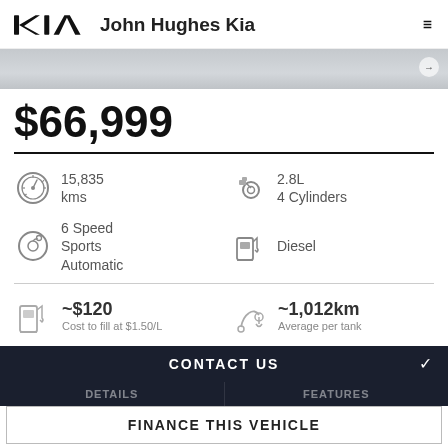John Hughes Kia
[Figure (photo): Car image banner strip, grey/silver background]
$66,999
15,835 kms
2.8L 4 Cylinders
6 Speed Sports Automatic
Diesel
~$120 Cost to fill at $1.50/L
~1,012km Average per tank
CONTACT US
DETAILS
FEATURES
FINANCE THIS VEHICLE